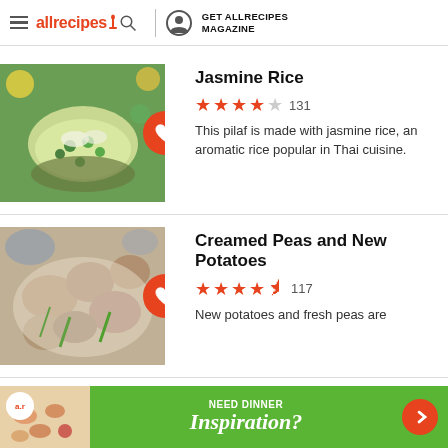allrecipes | GET ALLRECIPES MAGAZINE
Jasmine Rice
★★★★☆ 131
This pilaf is made with jasmine rice, an aromatic rice popular in Thai cuisine.
Creamed Peas and New Potatoes
★★★★½ 117
New potatoes and fresh peas are...
[Figure (screenshot): Advertisement banner - Need Dinner Inspiration?]